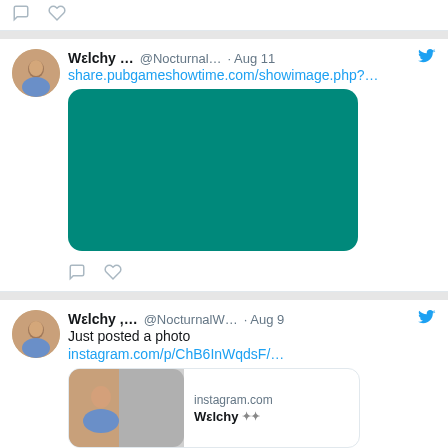[Figure (screenshot): Twitter feed screenshot showing two tweets from Wεlchy user accounts. Top strip has comment and heart icons. First tweet from @Nocturnal... dated Aug 11 with a link to share.pubgameshowtime.com/showimage.php?... and a teal/green rounded rectangle image. Second tweet from @NocturnalW... dated Aug 9 saying 'Just posted a photo' with instagram.com/p/ChB6InWqdsF/... link and a preview card showing instagram.com and Welchy name.]